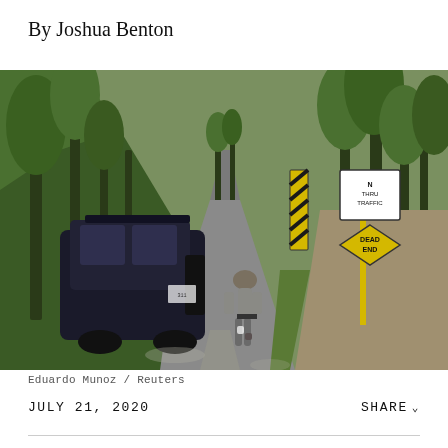By Joshua Benton
[Figure (photo): A law enforcement officer walks down a rural two-lane road toward a wooded area. A dark police SUV is parked on the left side of the road. Yellow and black warning signs including a DEAD END sign are visible on the right side. Trees line both sides of the road.]
Eduardo Munoz / Reuters
JULY 21, 2020
SHARE